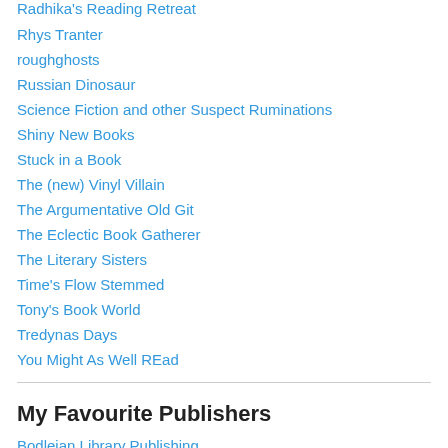Radhika's Reading Retreat
Rhys Tranter
roughghosts
Russian Dinosaur
Science Fiction and other Suspect Ruminations
Shiny New Books
Stuck in a Book
The (new) Vinyl Villain
The Argumentative Old Git
The Eclectic Book Gatherer
The Literary Sisters
Time's Flow Stemmed
Tony's Book World
Tredynas Days
You Might As Well REad
My Favourite Publishers
Bodleian Library Publishing
British Library Publishing